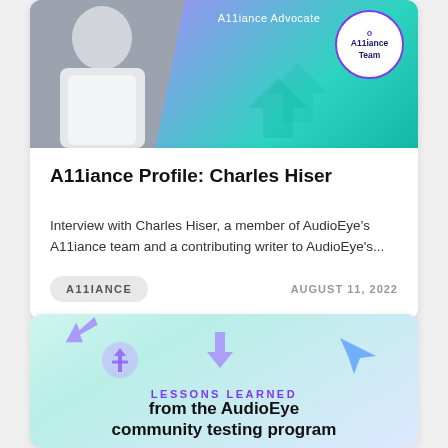[Figure (photo): Card with header image showing a person in grayscale on a purple-to-teal gradient background, with 'A11iance Advocate' text and an A11iance Team badge circle]
A11iance Profile: Charles Hiser
Interview with Charles Hiser, a member of AudioEye's A11iance team and a contributing writer to AudioEye's...
A11IANCE
AUGUST 11, 2022
[Figure (illustration): Card with light blue-green gradient background showing 3D arrow icons and accessibility cursor icons in purple and blue]
LESSONS LEARNED
from the AudioEye community testing program